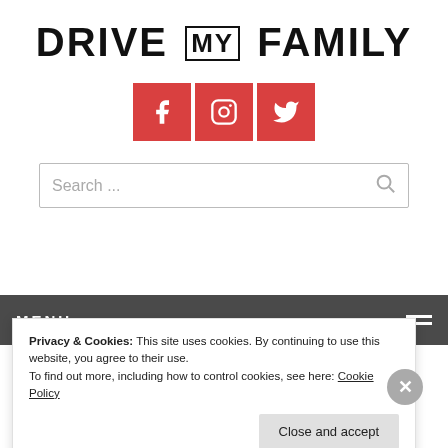DRIVE MY FAMILY
[Figure (infographic): Three red social media icon buttons: Facebook, Instagram, Twitter]
Search ...
MENU
Privacy & Cookies: This site uses cookies. By continuing to use this website, you agree to their use.
To find out more, including how to control cookies, see here: Cookie Policy
Close and accept